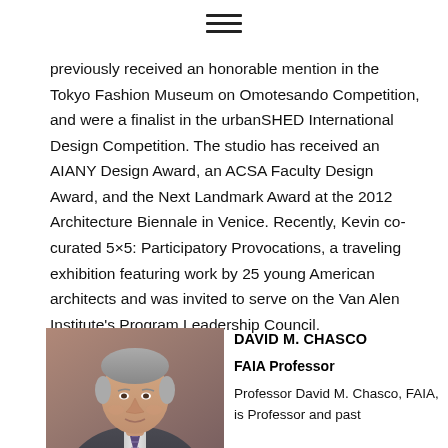previously received an honorable mention in the Tokyo Fashion Museum on Omotesando Competition, and were a finalist in the urbanSHED International Design Competition. The studio has received an AIANY Design Award, an ACSA Faculty Design Award, and the Next Landmark Award at the 2012 Architecture Biennale in Venice. Recently, Kevin co-curated 5×5: Participatory Provocations, a traveling exhibition featuring work by 25 young American architects and was invited to serve on the Van Alen Institute's Program Leadership Council.
[Figure (photo): Headshot of David M. Chasco, an older man with gray hair wearing a suit and tie, photographed against a warm brown background.]
DAVID M. CHASCO
FAIA Professor
Professor David M. Chasco, FAIA, is Professor and past